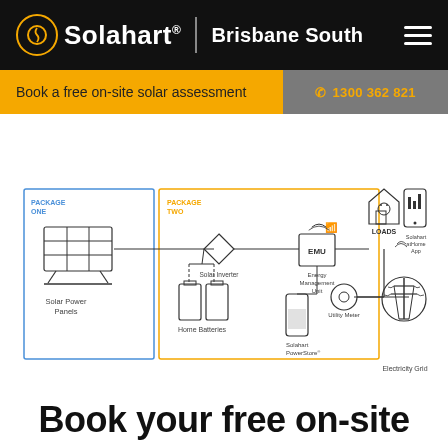Solahart Brisbane South
Book a free on-site solar assessment
1300 362 821
[Figure (schematic): Solar energy system schematic showing Package One (Solar Power Panels) and Package Two (Solar Inverter, Home Batteries, EMU Energy Management Unit, Solahart PowerStore) connected to Loads, Solahart atHome App, Utility Meter, and Electricity Grid.]
Book your free on-site